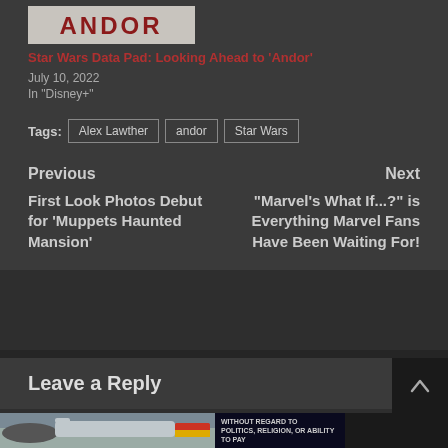[Figure (illustration): Andor title card image showing stylized red text on worn background]
Star Wars Data Pad: Looking Ahead to 'Andor'
July 10, 2022
In "Disney+"
Tags: Alex Lawther   andor   Star Wars
Previous
First Look Photos Debut for 'Muppets Haunted Mansion'
Next
"Marvel's What If...?" is Everything Marvel Fans Have Been Waiting For!
Leave a Reply
[Figure (photo): Bottom advertisement showing airplane on tarmac with cargo being loaded]
[Figure (other): Dark advertisement with text 'WITHOUT REGARD TO POLITICS, RELIGION, OR ABILITY TO PAY']